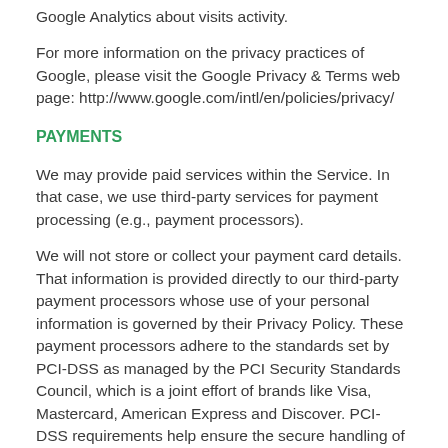Google Analytics about visits activity.
For more information on the privacy practices of Google, please visit the Google Privacy & Terms web page: http://www.google.com/intl/en/policies/privacy/
PAYMENTS
We may provide paid services within the Service. In that case, we use third-party services for payment processing (e.g., payment processors).
We will not store or collect your payment card details. That information is provided directly to our third-party payment processors whose use of your personal information is governed by their Privacy Policy. These payment processors adhere to the standards set by PCI-DSS as managed by the PCI Security Standards Council, which is a joint effort of brands like Visa, Mastercard, American Express and Discover. PCI-DSS requirements help ensure the secure handling of payment information.